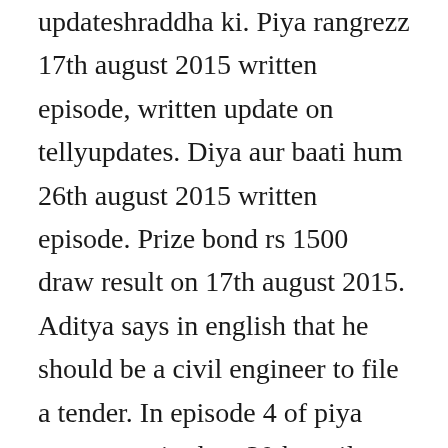updateshraddha ki. Piya rangrezz 17th august 2015 written episode, written update on tellyupdates. Diya aur baati hum 26th august 2015 written episode. Prize bond rs 1500 draw result on 17th august 2015. Aditya says in english that he should be a civil engineer to file a tender. In episode 4 of piya rangrezz, aired on 30th april 2015, sher singh upset with bhanvari bhanvari devis threats compel shraddha and her family to give in to her decision. Piya rangrezz 18th august 2015 written episode, written update on. Aug 23, 2015 swaragini, 24th august 2015 full